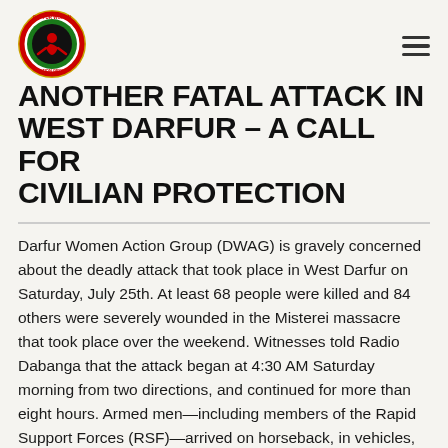Darfur Women Action Group logo and navigation menu
ANOTHER FATAL ATTACK IN WEST DARFUR – A CALL FOR CIVILIAN PROTECTION
Darfur Women Action Group (DWAG) is gravely concerned about the deadly attack that took place in West Darfur on Saturday, July 25th. At least 68 people were killed and 84 others were severely wounded in the Misterei massacre that took place over the weekend. Witnesses told Radio Dabanga that the attack began at 4:30 AM Saturday morning from two directions, and continued for more than eight hours. Armed men—including members of the Rapid Support Forces (RSF)—arrived on horseback, in vehicles, and on motorcycles. This is the second major attack in Misterei in a week, following the attack on peaceful protesters on July 17th that injured seventeen people. This chilling development is just another demonstration of the